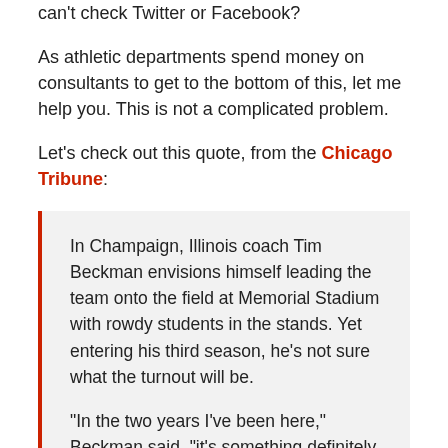can't check Twitter or Facebook?
As athletic departments spend money on consultants to get to the bottom of this, let me help you. This is not a complicated problem.
Let's check out this quote, from the Chicago Tribune:
In Champaign, Illinois coach Tim Beckman envisions himself leading the team onto the field at Memorial Stadium with rowdy students in the stands. Yet entering his third season, he's not sure what the turnout will be.

"In the two years I've been here," Beckman said, "it's something definitely that I'd like to get better."
Now, let the reasons this is a problem and how to beat...